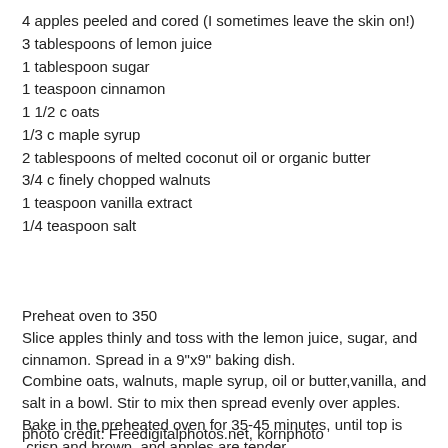4 apples peeled and cored (I sometimes leave the skin on!)
3 tablespoons of lemon juice
1 tablespoon sugar
1 teaspoon cinnamon
1 1/2 c oats
1/3 c maple syrup
2 tablespoons of melted coconut oil or organic butter
3/4 c finely chopped walnuts
1 teaspoon vanilla extract
1/4 teaspoon salt
Preheat oven to 350
Slice apples thinly and toss with the lemon juice, sugar, and cinnamon. Spread in a 9"x9" baking dish.
Combine oats, walnuts, maple syrup, oil or butter,vanilla, and salt in a bowl. Stir to mix then spread evenly over apples.
Bake in the preheated oven for 35-45 minutes, until top is crisp and brown, and apples are tender.
photo credit: Freedigitalphotos.net, kornphoto